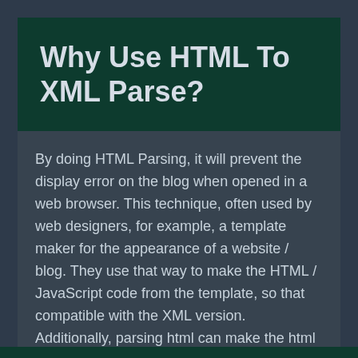Why Use HTML To XML Parse?
By doing HTML Parsing, it will prevent the display error on the blog when opened in a web browser. This technique, often used by web designers, for example, a template maker for the appearance of a website / blog. They use that way to make the HTML / JavaScript code from the template, so that compatible with the XML version. Additionally, parsing html can make the html code parsed to be more seo friendly and valid html5 when compared to unparted.